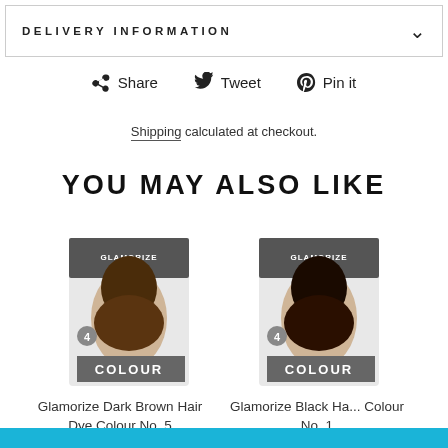DELIVERY INFORMATION
f Share   Tweet   Pin it
Shipping calculated at checkout.
YOU MAY ALSO LIKE
[Figure (photo): Glamorize hair dye colour No. 5 product box - Dark Brown]
Glamorize Dark Brown Hair Dye Colour No. 5
£0.79
[Figure (photo): Glamorize hair dye colour No. 1 product box - Black]
Glamorize Black Ha... Colour No. 1
£0.79